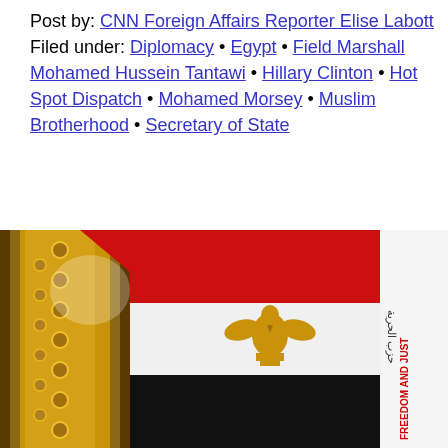Post by: CNN Foreign Affairs Reporter Elise Labott
Filed under: Diplomacy • Egypt • Field Marshall Mohamed Hussein Tantawi • Hillary Clinton • Hot Spot Dispatch • Mohamed Morsey • Muslim Brotherhood • Secretary of State
[Figure (photo): Close-up photograph of Egyptian flag (red, white, black horizontal stripes with golden eagle emblem) alongside a white flag with text 'FREEDOM AND JUSTICE' partially visible, and gold-fringed military decoration on the left.]